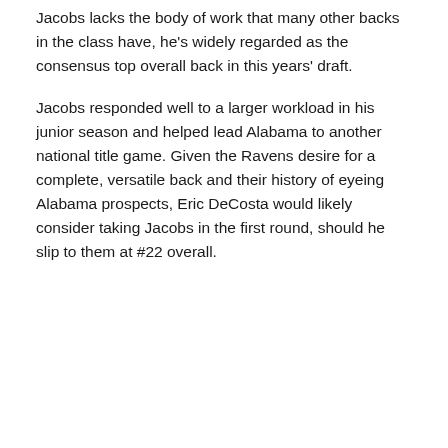Jacobs lacks the body of work that many other backs in the class have, he's widely regarded as the consensus top overall back in this years' draft.
Jacobs responded well to a larger workload in his junior season and helped lead Alabama to another national title game. Given the Ravens desire for a complete, versatile back and their history of eyeing Alabama prospects, Eric DeCosta would likely consider taking Jacobs in the first round, should he slip to them at #22 overall.